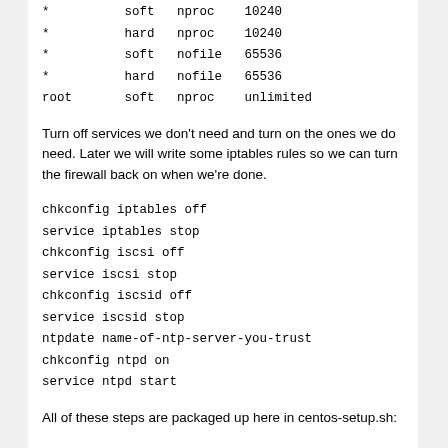*                soft    nproc      10240
*                hard    nproc      10240
*                soft    nofile     65536
*                hard    nofile     65536
root             soft    nproc      unlimited
Turn off services we don't need and turn on the ones we do need. Later we will write some iptables rules so we can turn the firewall back on when we're done.
chkconfig iptables off
service iptables stop
chkconfig iscsi off
service iscsi stop
chkconfig iscsid off
service iscsid stop
ntpdate name-of-ntp-server-you-trust
chkconfig ntpd on
service ntpd start
All of these steps are packaged up here in centos-setup.sh: